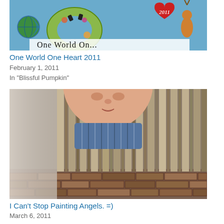[Figure (photo): Colorful artwork for One World One Heart 2011 event, showing decorative lettering with a globe, heart with '2011', and whimsical illustrated characters on a blue background]
One World One Heart 2011
February 1, 2011
In "Blissful Pumpkin"
[Figure (photo): Painting of an angel figure with a round face wearing a red hat, shown from chest up against a striped wooden fence/slats background with a brick wall at the bottom]
I Can't Stop Painting Angels. =)
March 6, 2011
In "Angels"